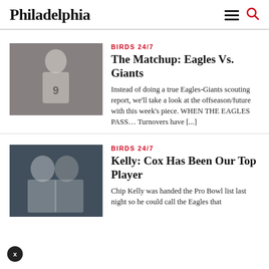Philadelphia
[Figure (photo): Eagles quarterback #9 in white uniform raising arm on football field]
BIRDS 24/7
The Matchup: Eagles Vs. Giants
Instead of doing a true Eagles-Giants scouting report, we'll take a look at the offseason/future with this week's piece. WHEN THE EAGLES PASS... Turnovers have [...]
[Figure (photo): Eagles defensive linemen in game action against opposing team]
BIRDS 24/7
Kelly: Cox Has Been Our Top Player
Chip Kelly was handed the Pro Bowl list last night so he could call the Eagles that